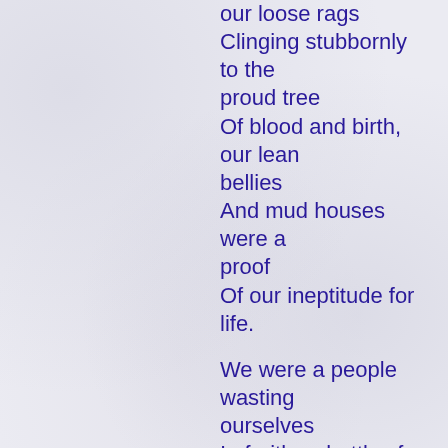our loose rags
Clinging stubbornly to the proud tree
Of blood and birth, our lean bellies
And mud houses were a proof
Of our ineptitude for life.

We were a people wasting ourselves
In fruitless battles for our masters,
in lands to which we had no claim,
With men for whom we felt no hatred.

We were a people, and are so yet.
When we have finished quarrelling for crumbs
Under the table, or gnawing the bones
Of a dead culture, we will arise.